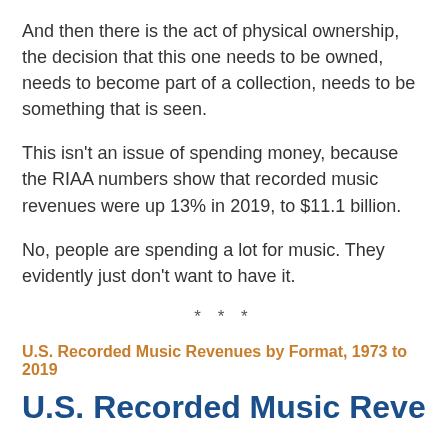And then there is the act of physical ownership, the decision that this one needs to be owned, needs to become part of a collection, needs to be something that is seen.
This isn't an issue of spending money, because the RIAA numbers show that recorded music revenues were up 13% in 2019, to $11.1 billion.
No, people are spending a lot for music. They evidently just don't want to have it.
U.S. Recorded Music Revenues by Format, 1973 to 2019
U.S. Recorded Music Revenues